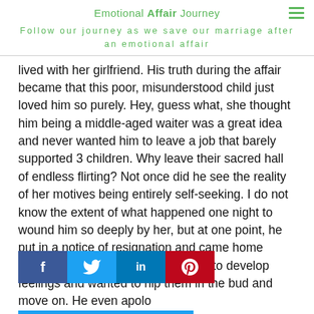Emotional Affair Journey
Follow our journey as we save our marriage after an emotional affair
lived with her girlfriend. His truth during the affair became that this poor, misunderstood child just loved him so purely. Hey, guess what, she thought him being a middle-aged waiter was a great idea and never wanted him to leave a job that barely supported 3 children. Why leave their sacred hall of endless flirting? Not once did he see the reality of her motives being entirely self-seeking. I do not know the extent of what happened one night to wound him so deeply by her, but at one point, he put in a notice of resignation and came home contritely telling me he was starting to develop feelings and wanted to nip them in the bud and move on. He even apolo[gized for not being the decent man I marri]ed[, something] as his truth at home, I will even believe he believed it. His
[Figure (infographic): Social sharing buttons: Facebook (f), Twitter (bird), LinkedIn (in), Pinterest (p)]